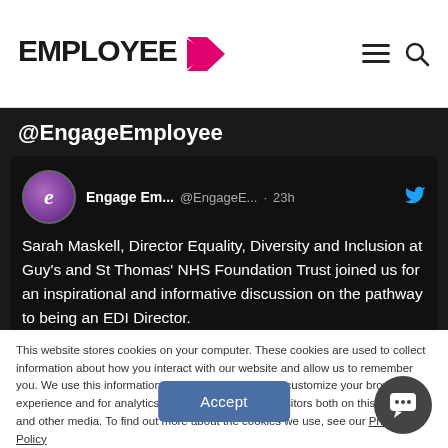EMPLOYEE >
@EngageEmployee
[Figure (screenshot): Tweet from Engage Employee (@EngageE...) posted 23h ago: Sarah Maskell, Director Equality, Diversity and Inclusion at Guy's and St Thomas' NHS Foundation Trust joined us for an inspirational and informative discussion on the pathway to being an EDI Director.]
This website stores cookies on your computer. These cookies are used to collect information about how you interact with our website and allow us to remember you. We use this information in order to improve and customize your browsing experience and for analytics and metrics about our visitors both on this website and other media. To find out more about the cookies we use, see our Privacy Policy
Accept